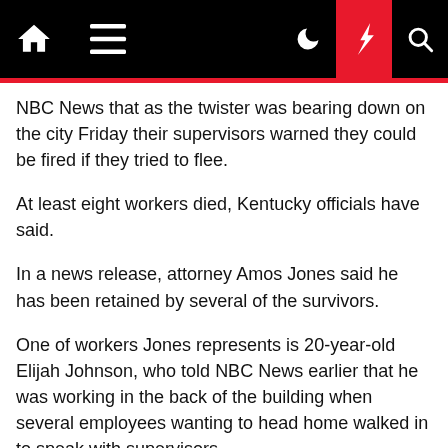Navigation bar with home, menu, dark mode, breaking news, and search icons
NBC News that as the twister was bearing down on the city Friday their supervisors warned they could be fired if they tried to flee.
At least eight workers died, Kentucky officials have said.
In a news release, attorney Amos Jones said he has been retained by several of the survivors.
One of workers Jones represents is 20-year-old Elijah Johnson, who told NBC News earlier that he was working in the back of the building when several employees wanting to head home walked in to speak with supervisors.
Johnson said he asked to leave and was told he'd be fired.